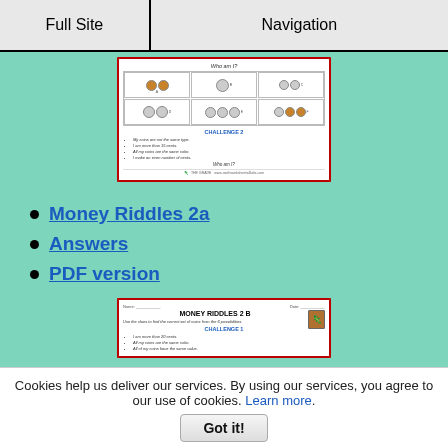Full Site | Navigation
[Figure (screenshot): Worksheet preview showing 'Who am I?' coin riddle with 6 coin group options and Challenge 2 clues]
Money Riddles 2a
Answers
PDF version
[Figure (screenshot): Worksheet preview showing 'Money Riddles 2B' with Challenge 1 clues]
Cookies help us deliver our services. By using our services, you agree to our use of cookies. Learn more.